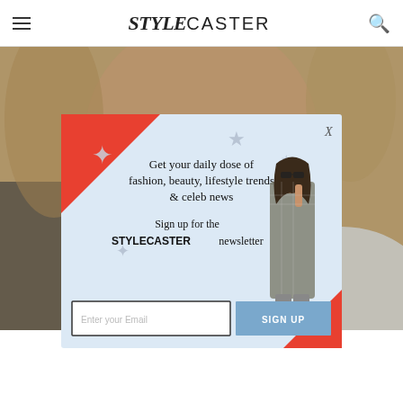STYLECASTER
[Figure (photo): Close-up photo of a woman's face with pearl earrings, blurred background with gold tones]
[Figure (infographic): Newsletter signup popup overlay with light blue background, red corner decoration, model illustration, star decorations, text: Get your daily dose of fashion, beauty, lifestyle trends & celeb news. Sign up for the STYLECASTER newsletter. Email input and SIGN UP button.]